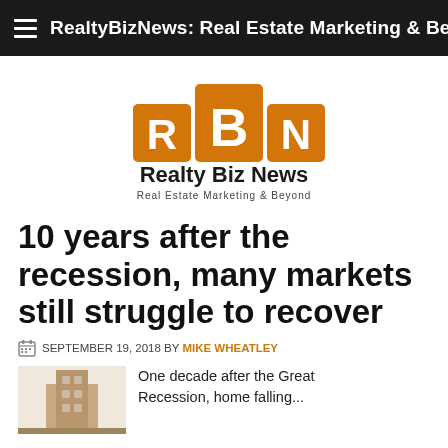RealtyBizNews: Real Estate Marketing & Beyond
[Figure (logo): RBN Realty Biz News logo with orange R, B, N letter blocks and tagline 'Real Estate Marketing & Beyond']
10 years after the recession, many markets still struggle to recover
SEPTEMBER 19, 2018 BY MIKE WHEATLEY
One decade after the Great Recession, home falling...